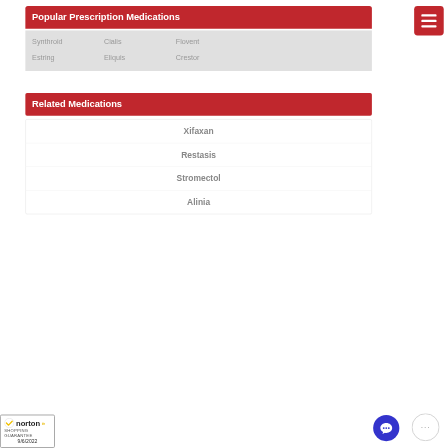Popular Prescription Medications
Synthroid
Cialis
Flovent
Estring
Eliquis
Crestor
Related Medications
Xifaxan
Restasis
Stromectol
Alinia
[Figure (logo): Norton Shopping Guarantee badge with checkmark, dated 9/6/2022]